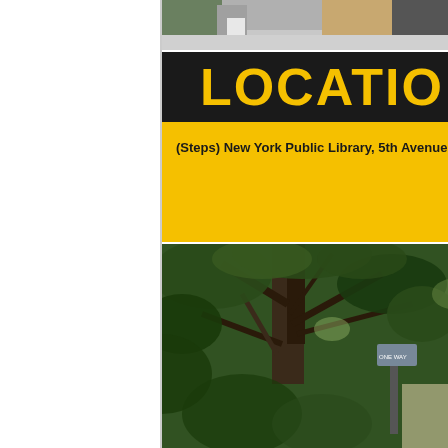[Figure (photo): Photo of people on a street, cropped at top, partially visible]
LOCATIO
(Steps) New York Public Library, 5th Avenue
[Figure (photo): Looking up through dense green tree canopy with street sign partially visible]